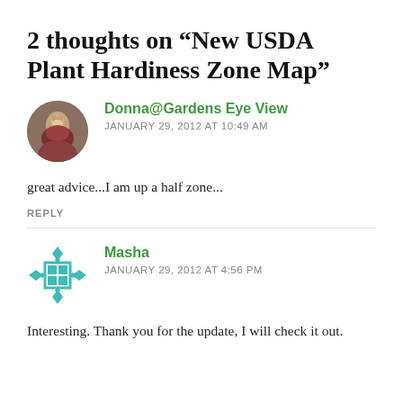2 thoughts on “New USDA Plant Hardiness Zone Map”
Donna@Gardens Eye View
JANUARY 29, 2012 AT 10:49 AM
great advice...I am up a half zone...
REPLY
Masha
JANUARY 29, 2012 AT 4:56 PM
Interesting. Thank you for the update, I will check it out.